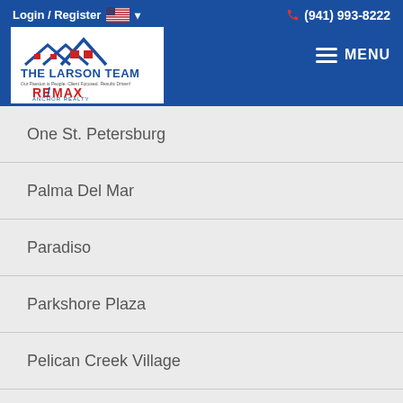Login / Register  (941) 993-8222  MENU
[Figure (logo): The Larson Team RE/MAX Anchor Realty logo with house roof graphic]
One St. Petersburg
Palma Del Mar
Paradiso
Parkshore Plaza
Pelican Creek Village
Placido Bayou Townhomes
Playa Escondida Townhomes
racquet Club Northeast
Reflection St. Pete